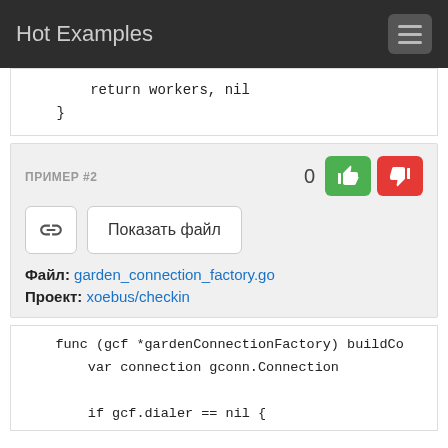Hot Examples
return workers, nil
    }
ПРИМЕР #2
0
Показать файл
Файл: garden_connection_factory.go
Проект: xoebus/checkin
func (gcf *gardenConnectionFactory) buildCo
    var connection gconn.Connection

    if gcf.dialer == nil {